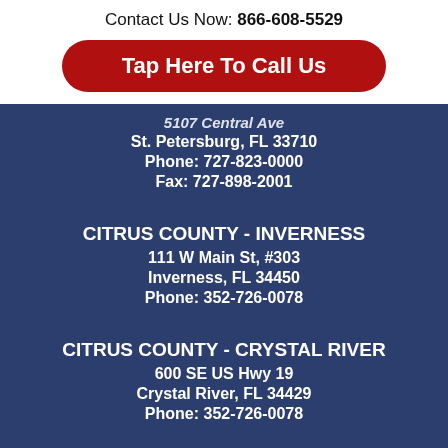Contact Us Now: 866-608-5529
Tap Here To Call Us
5107 Central Ave
St. Petersburg, FL 33710
Phone: 727-823-0000
Fax: 727-898-2001
CITRUS COUNTY - INVERNESS
111 W Main St, #303
Inverness, FL 34450
Phone: 352-726-0078
CITRUS COUNTY - CRYSTAL RIVER
600 SE US Hwy 19
Crystal River, FL 34429
Phone: 352-726-0078